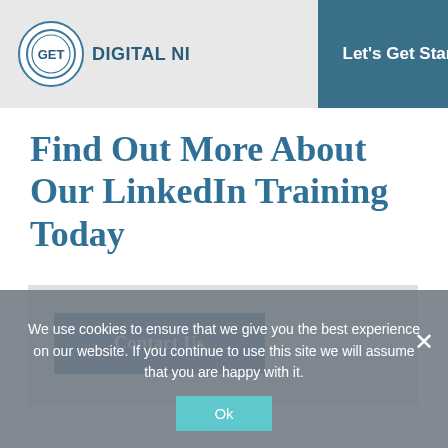GET DIGITAL NI — Let's Get Started
Find Out More About Our LinkedIn Training Today
Contact Us
We use cookies to ensure that we give you the best experience on our website. If you continue to use this site we will assume that you are happy with it.
Ok